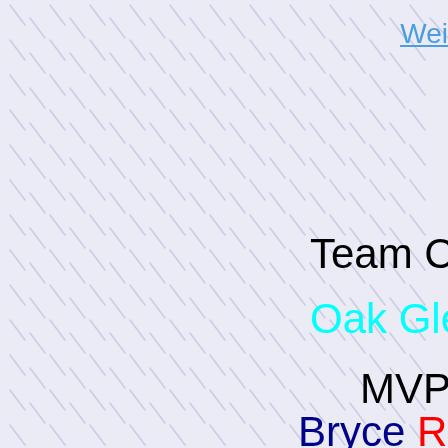Wei
Team Cha
Oak Glen M
MVP
Bryce Rush